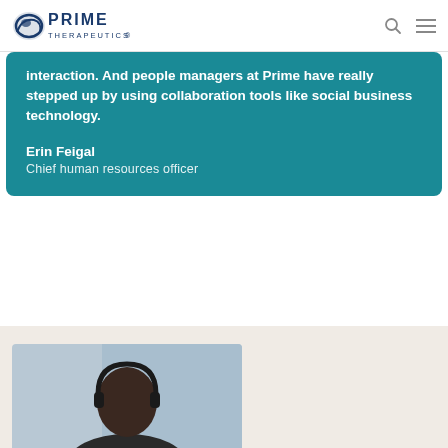Prime Therapeutics logo with navigation icons
interaction. And people managers at Prime have really stepped up by using collaboration tools like social business technology.
Erin Feigal
Chief human resources officer
[Figure (photo): Partial view of a person wearing headphones, visible from shoulders up, photographed in an office or professional setting with a light blue background. Only the top of the head and shoulders are visible at the bottom of the page.]